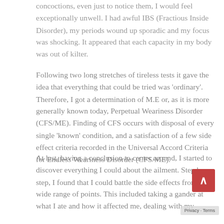concoctions, even just to notice them, I would feel exceptionally unwell. I had awful IBS (Fractious Inside Disorder), my periods wound up sporadic and my focus was shocking. It appeared that each capacity in my body was out of kilter.
Following two long stretches of tireless tests it gave the idea that everything that could be tried was 'ordinary'. Therefore, I got a determination of M.E or, as it is more generally known today, Perpetual Weariness Disorder (CFS/ME). Finding of CFS occurs with disposal of every single 'known' condition, and a satisfaction of a few side effect criteria recorded in the Universal Accord Criteria for Endless Weariness Disorder (CFS/ME).
At last, having a conclusion to center around, I started to discover everything I could about the ailment. Step by step, I found that I could battle the side effects from a wide range of points. This included taking a gander at what I ate and how it affected me, dealing with my